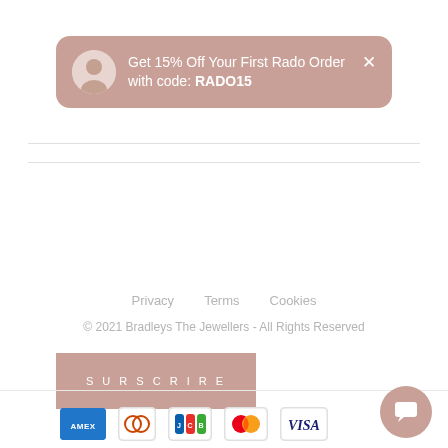[Figure (screenshot): Promotional notification banner with avatar, discount code text, and close button]
SURSCRIRE
Privacy   Terms   Cookies
© 2021 Bradleys The Jewellers - All Rights Reserved
[Figure (infographic): Payment method icons: American Express, Diners Club, JCB, Mastercard, Visa]